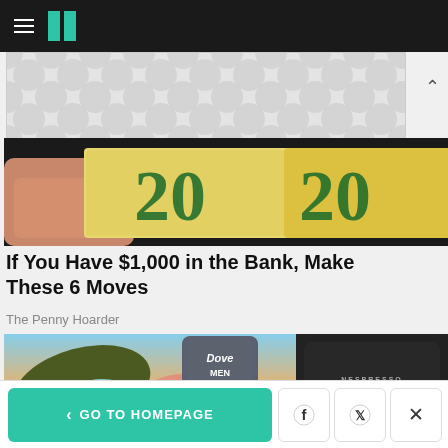HuffPost navigation bar with hamburger menu and logo
[Figure (other): Advertisement banner with circular dot pattern on grey background]
[Figure (photo): Close-up photo of hands holding $20 dollar bills]
If You Have $1,000 in the Bank, Make These 6 Moves
The Penny Hoarder
[Figure (photo): Collage of products: Nike sneaker, Dove Men+Care body wash, and Nespresso machine on sunset sky background]
< GO TO HOMEPAGE | Facebook share | Twitter share | Close